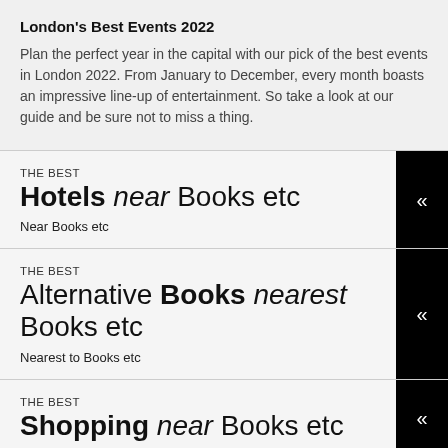London's Best Events 2022
Plan the perfect year in the capital with our pick of the best events in London 2022. From January to December, every month boasts an impressive line-up of entertainment. So take a look at our guide and be sure not to miss a thing.
THE BEST Hotels near Books etc
Near Books etc
THE BEST Alternative Books nearest Books etc
Nearest to Books etc
THE BEST Shopping near Books etc